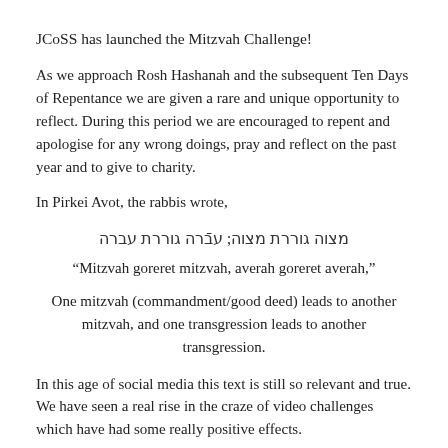JCoSS has launched the Mitzvah Challenge!
As we approach Rosh Hashanah and the subsequent Ten Days of Repentance we are given a rare and unique opportunity to reflect. During this period we are encouraged to repent and apologise for any wrong doings, pray and reflect on the past year and to give to charity.
In Pirkei Avot, the rabbis wrote,
מצוה גוררת מצוה; עבֿרה גוררת עברה
“Mitzvah goreret mitzvah, averah goreret averah,”
One mitzvah (commandment/good deed) leads to another mitzvah, and one transgression leads to another transgression.
In this age of social media this text is still so relevant and true. We have seen a real rise in the craze of video challenges which have had some really positive effects.
Recently, in the Jewish Community, this modern craze was